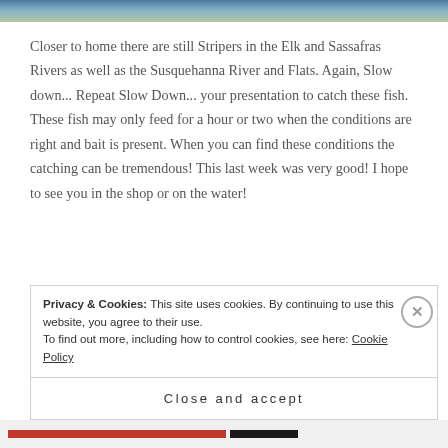[Figure (photo): Partial photo strip at top of page showing water/outdoor fishing scene]
Closer to home there are still Stripers in the Elk and Sassafras Rivers as well as the Susquehanna River and Flats. Again, Slow down... Repeat Slow Down... your presentation to catch these fish. These fish may only feed for a hour or two when the conditions are right and bait is present. When you can find these conditions the catching can be tremendous! This last week was very good! I hope to see you in the shop or on the water!
Privacy & Cookies: This site uses cookies. By continuing to use this website, you agree to their use.
To find out more, including how to control cookies, see here: Cookie Policy
Close and accept